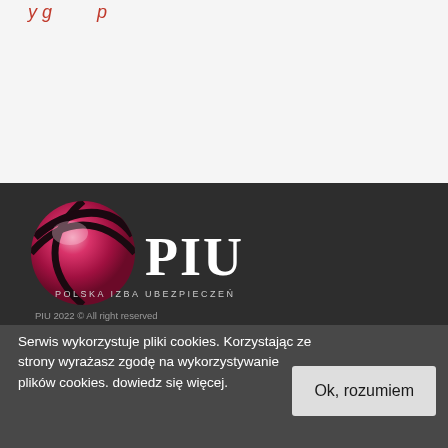y g p
[Figure (logo): PIU Polska Izba Ubezpieczeń logo — pink/magenta globe with dark meridian lines, white PIU text, subtitle POLSKA IZBA UBEZPIECZEŃ]
PIU 2022 © All right reserved
Serwis wykorzystuje pliki cookies. Korzystając ze strony wyrażasz zgodę na wykorzystywanie plików cookies. dowiedz się więcej.
Ok, rozumiem